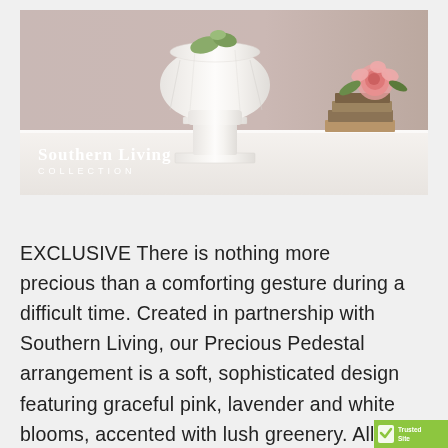[Figure (photo): Product photo showing a white pedestal vase against a dusty pink/mauve background, with a pink rose and books on the right side. The Southern Living Collection logo appears in the lower left of the image in white text.]
EXCLUSIVE There is nothing more precious than a comforting gesture during a difficult time. Created in partnership with Southern Living, our Precious Pedestal arrangement is a soft, sophisticated design featuring graceful pink, lavender and white blooms, accented with lush greenery. All hand-gathered in an elegant pedestal vase, it makes a graceful and touching gi